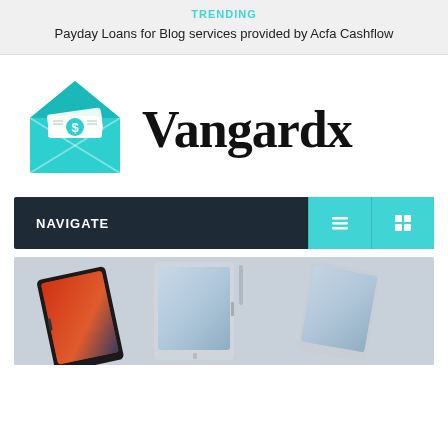TRENDING
Payday Loans for Blog services provided by Acfa Cashflow
[Figure (logo): Vangardx logo: teal envelope/house icon with dollar bill, and the text 'Vangardx' in large serif bold font]
NAVIGATE
[Figure (photo): Hero image showing multiple Samsung Galaxy tablets arranged at angles against a white background]